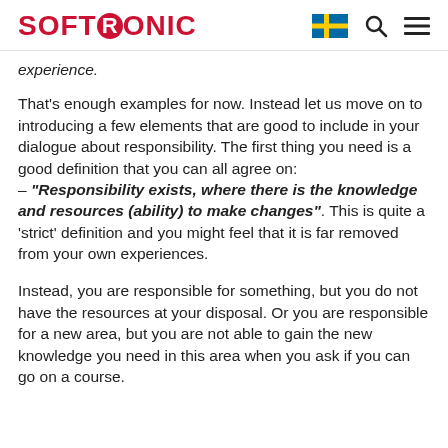SOFTRONIC
experience.
That's enough examples for now. Instead let us move on to introducing a few elements that are good to include in your dialogue about responsibility. The first thing you need is a good definition that you can all agree on:
– “Responsibility exists, where there is the knowledge and resources (ability) to make changes”. This is quite a ‘strict’ definition and you might feel that it is far removed from your own experiences.
Instead, you are responsible for something, but you do not have the resources at your disposal. Or you are responsible for a new area, but you are not able to gain the new knowledge you need in this area when you ask if you can go on a course.